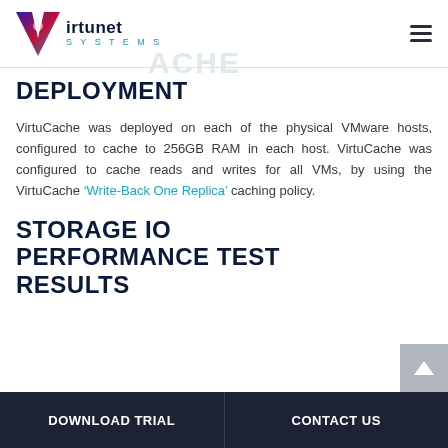Virtunet Systems | VirtuCache
DEPLOYMENT
VirtuCache was deployed on each of the physical VMware hosts, configured to cache to 256GB RAM in each host. VirtuCache was configured to cache reads and writes for all VMs, by using the VirtuCache ‘Write-Back One Replica’ caching policy.
STORAGE IO PERFORMANCE TEST RESULTS
DOWNLOAD TRIAL   CONTACT US